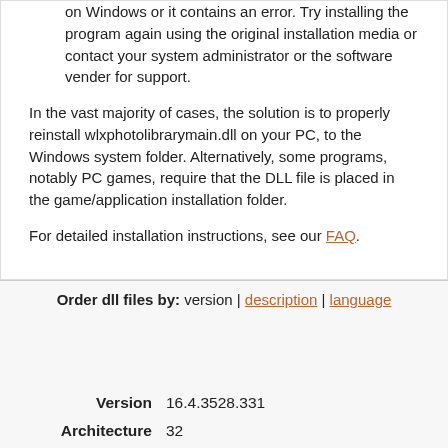on Windows or it contains an error. Try installing the program again using the original installation media or contact your system administrator or the software vender for support.
In the vast majority of cases, the solution is to properly reinstall wlxphotolibrarymain.dll on your PC, to the Windows system folder. Alternatively, some programs, notably PC games, require that the DLL file is placed in the game/application installation folder.
For detailed installation instructions, see our FAQ.
Order dll files by: version | description | language
| Field | Value |
| --- | --- |
| Version | 16.4.3528.331 |
| Architecture | 32 |
| File size | 3.31 MB |
| Language | U.S. English |